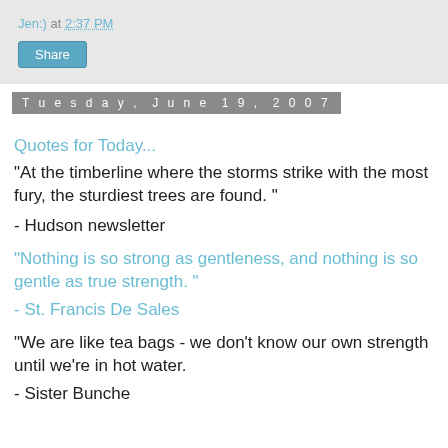Jen:) at 2:37 PM
Share
Tuesday, June 19, 2007
Quotes for Today...
"At the timberline where the storms strike with the most fury, the sturdiest trees are found. "
- Hudson newsletter
"Nothing is so strong as gentleness, and nothing is so gentle as true strength. "
- St. Francis De Sales
"We are like tea bags - we don't know our own strength until we're in hot water.
- Sister Bunche